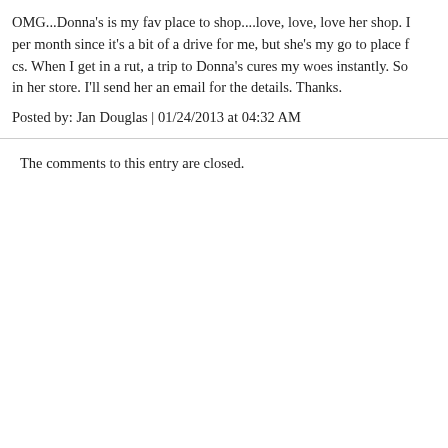OMG...Donna's is my fav place to shop....love, love, love her shop. per month since it's a bit of a drive for me, but she's my go to place f cs. When I get in a rut, a trip to Donna's cures my woes instantly. So in her store. I'll send her an email for the details. Thanks.
Posted by: Jan Douglas | 01/24/2013 at 04:32 AM
The comments to this entry are closed.